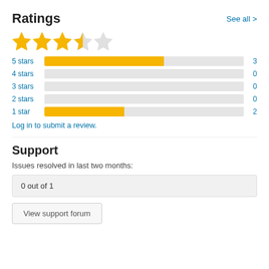Ratings
See all >
[Figure (other): Star rating display showing 3.5 out of 5 stars: three full yellow stars, one half yellow star, one empty star]
[Figure (bar-chart): Star ratings breakdown]
Log in to submit a review.
Support
Issues resolved in last two months:
0 out of 1
View support forum